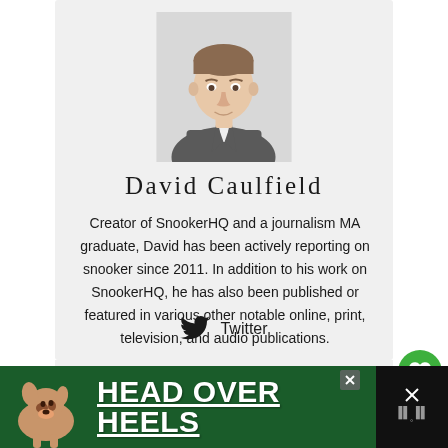[Figure (photo): Headshot photo of David Caulfield, a young man in a grey suit jacket with white collar, light background]
David Caulfield
Creator of SnookerHQ and a journalism MA graduate, David has been actively reporting on snooker since 2011. In addition to his work on SnookerHQ, he has also been published or featured in various other notable online, print, television, and audio publications.
Twitter
[Figure (illustration): Green circular button with heart icon (favorite/like)]
[Figure (illustration): White circular button with share icon]
[Figure (illustration): Advertisement banner: HEAD OVER HEELS with dog image on dark green background]